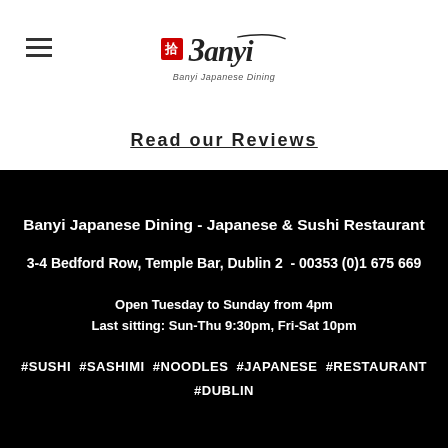[Figure (logo): Banyi Japanese Dining logo with red kanji box, stylized brush-script text '3anyi' and subtitle 'Banyi Japanese Dining']
Read our Reviews
Banyi Japanese Dining - Japanese & Sushi Restaurant
3-4 Bedford Row, Temple Bar, Dublin 2  -  00353 (0)1 675 669
Open Tuesday to Sunday from 4pm
Last sitting: Sun-Thu 9:30pm, Fri-Sat 10pm
#SUSHI  #SASHIMI  #NOODLES  #JAPANESE  #RESTAURANT
#DUBLIN